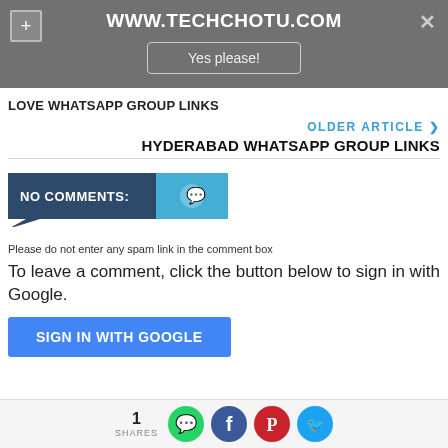WWW.TECHCHOTU.COM
Yes please!
LOVE WHATSAPP GROUP LINKS
OLDER ARTICLE ❯
HYDERABAD WHATSAPP GROUP LINKS
[Figure (other): No Comments badge with speech bubble tail]
Please do not enter any spam link in the comment box
To leave a comment, click the button below to sign in with Google.
SIGN IN WITH GOOGLE
1 SHARES